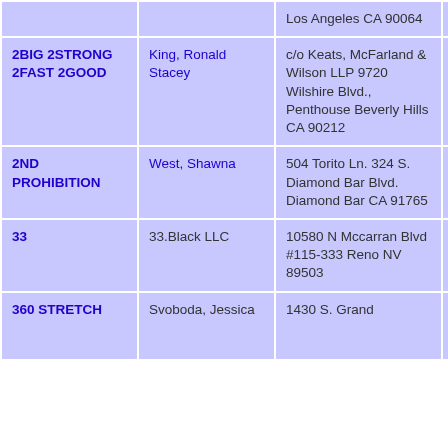| Mark | Owner | Address | Goods |
| --- | --- | --- | --- |
|  |  | Los Angeles CA 90064 | shirts |
| 2BIG 2STRONG 2FAST 2GOOD | King, Ronald Stacey | c/o Keats, McFarland & Wilson LLP 9720 Wilshire Blvd., Penthouse Beverly Hills CA 90212 | Cloth footw bask bask |
| 2ND PROHIBITION | West, Shawna | 504 Torito Ln. 324 S. Diamond Bar Blvd. Diamond Bar CA 91765 | Cloth short sleev |
| 33 | 33.Black LLC | 10580 N Mccarran Blvd #115-333 Reno NV 89503 | Cloth head shirts swea |
| 360 STRETCH | Svoboda, Jessica | 1430 S. Grand | CLOT |